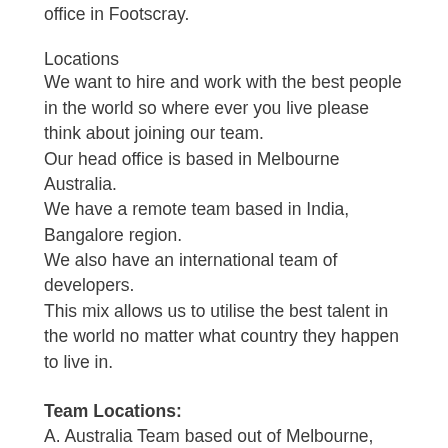office in Footscray.
Locations
We want to hire and work with the best people in the world so where ever you live please think about joining our team.
Our head office is based in Melbourne Australia.
We have a remote team based in India, Bangalore region.
We also have an international team of developers.
This mix allows us to utilise the best talent in the world no matter what country they happen to live in.
Team Locations:
A. Australia Team based out of Melbourne, Footscray
B. Remote Team in India, Bangalore